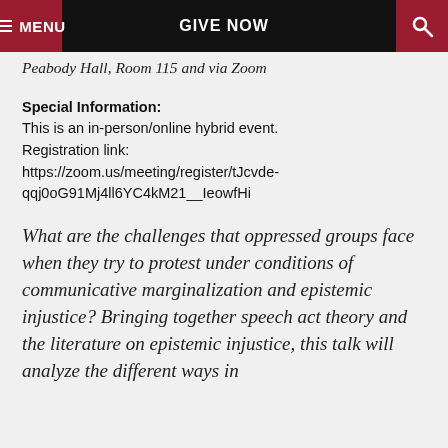MENU | GIVE NOW | [search icon]
Peabody Hall, Room 115 and via Zoom
Special Information: This is an in-person/online hybrid event. Registration link: https://zoom.us/meeting/register/tJcvde-qqj0oG91Mj4ll6YC4kM21__IeowfHi
What are the challenges that oppressed groups face when they try to protest under conditions of communicative marginalization and epistemic injustice? Bringing together speech act theory and the literature on epistemic injustice, this talk will analyze the different ways in